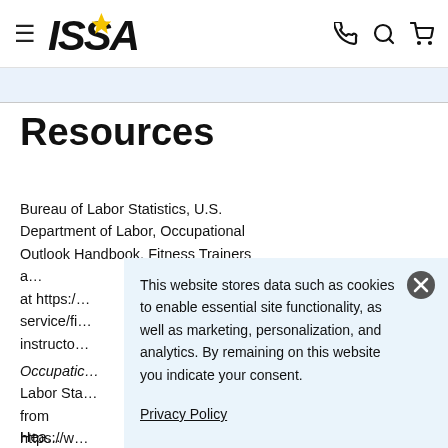≡ ISSA [logo] ☎ 🔍 🛒
Resources
Bureau of Labor Statistics, U.S. Department of Labor, Occupational Outlook Handbook, Fitness Trainers and Instructors, at https://www.bls.gov/ooh/personal-care-and-service/fitness-trainers-and-instructors.htm (visited January 14, 2020).
Occupational Outlook Handbook, Bureau of Labor Statistics, U.S. Department of Labor from https://www.bls.gov/...
This website stores data such as cookies to enable essential site functionality, as well as marketing, personalization, and analytics. By remaining on this website you indicate your consent.
Privacy Policy